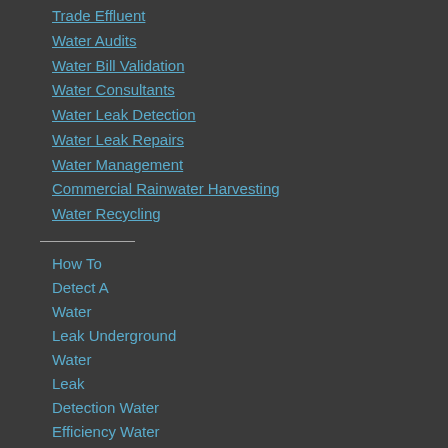Trade Effluent
Water Audits
Water Bill Validation
Water Consultants
Water Leak Detection
Water Leak Repairs
Water Management
Commercial Rainwater Harvesting
Water Recycling
How To
Detect A
Water
Leak Underground
Water
Leak
Detection Water
Efficiency Water
Engineers Water
Footprint Water